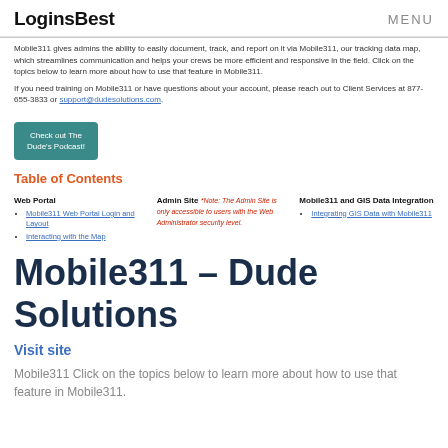LoginsBest | MENU
Mobile311 gives admins the ability to easily document, track, and report on it via Mobile311, our tracking data map, which streamlines communication and helps your crews be more efficient and responsive in the field. Click on the topics below to learn more about how to use that feature in Mobile311.
If you need training on Mobile311 or have questions about your account, please reach out to Client Services at 877-655-3833 or support@dudesolutions.com.
[Figure (other): Button: Check out The Dude's Podcast!]
Table of Contents
Web Portal
Mobile311 Web Portal Login and Layout
Interacting with the Map
Admin Site *Note: The Admin Site is only accessible to users with the Web Administrator security level.
Mobile311 and GIS Data Integration
Integrating GIS Data with Mobile311
Mobile311 – Dude Solutions
Visit site
Mobile311 Click on the topics below to learn more about how to use that feature in Mobile311.